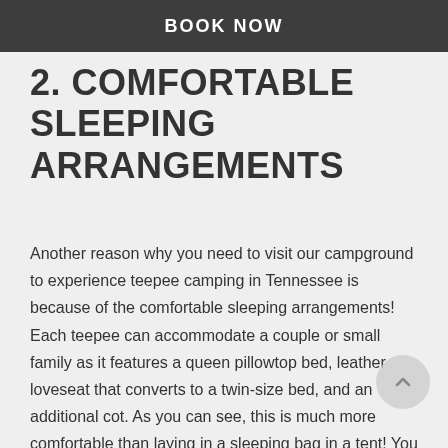BOOK NOW
2. COMFORTABLE SLEEPING ARRANGEMENTS
Another reason why you need to visit our campground to experience teepee camping in Tennessee is because of the comfortable sleeping arrangements! Each teepee can accommodate a couple or small family as it features a queen pillowtop bed, leather loveseat that converts to a twin-size bed, and an additional cot. As you can see, this is much more comfortable than laying in a sleeping bag in a tent! You can always count on a solid night of sleep in our teepees and be fully rested for your daytime activities!